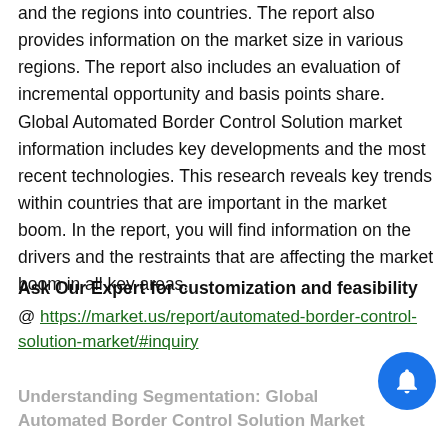and the regions into countries. The report also provides information on the market size in various regions. The report also includes an evaluation of incremental opportunity and basis points share. Global Automated Border Control Solution market information includes key developments and the most recent technologies. This research reveals key trends within countries that are important in the market boom. In the report, you will find information on the drivers and the restraints that are affecting the market boom in all key areas.
Ask Our Expert for customization and feasibility
@ https://market.us/report/automated-border-control-solution-market/#inquiry
Understanding Segmentation: Global Automated Border Control Solution Market